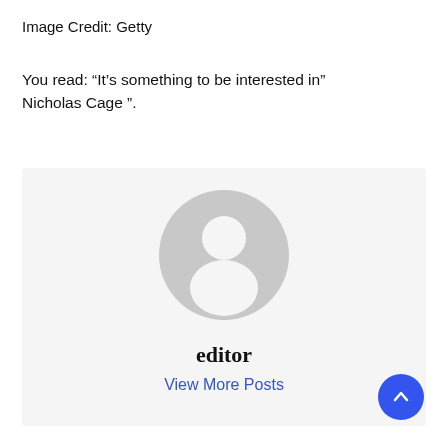Image Credit: Getty
You read: “It’s something to be interested in” Nicholas Cage ”.
[Figure (illustration): Author card with a generic grey user avatar icon, bold text 'editor', and a blue link 'View More Posts' on a light grey background.]